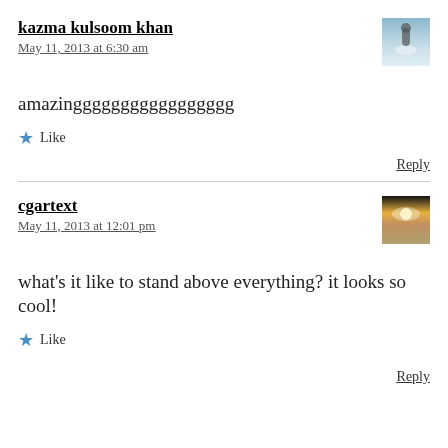kazma kulsoom khan
May 11, 2013 at 6:30 am
amazinggggggggggggggggg
★ Like
Reply
cgartext
May 11, 2013 at 12:01 pm
what's it like to stand above everything? it looks so cool!
★ Like
Reply